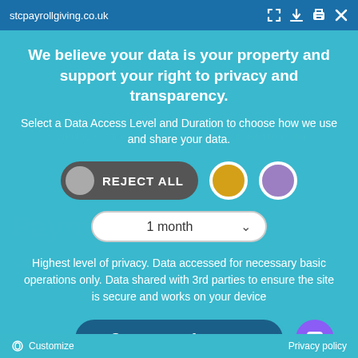stcpayrollgiving.co.uk
We believe your data is your property and support your right to privacy and transparency.
Select a Data Access Level and Duration to choose how we use and share your data.
[Figure (screenshot): Cookie consent controls: REJECT ALL toggle button (dark gray pill with gray circle), gold circle option, purple circle option, and a dropdown selector showing '1 month' with a down arrow chevron.]
Highest level of privacy. Data accessed for necessary basic operations only. Data shared with 3rd parties to ensure the site is secure and works on your device
Save my preferences
Customize    Privacy policy